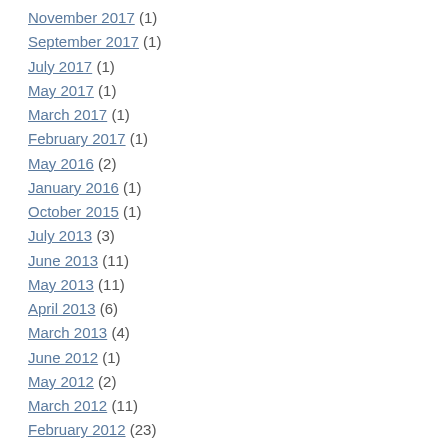November 2017 (1)
September 2017 (1)
July 2017 (1)
May 2017 (1)
March 2017 (1)
February 2017 (1)
May 2016 (2)
January 2016 (1)
October 2015 (1)
July 2013 (3)
June 2013 (11)
May 2013 (11)
April 2013 (6)
March 2013 (4)
June 2012 (1)
May 2012 (2)
March 2012 (11)
February 2012 (23)
January 2012 (21)